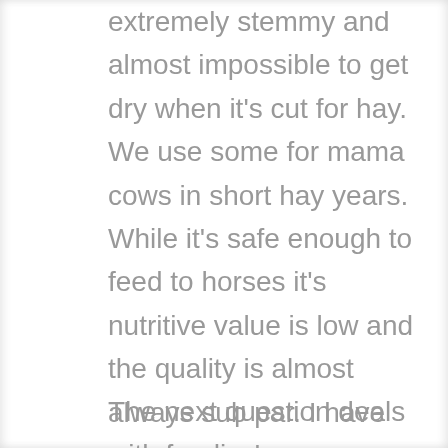extremely stemmy and almost impossible to get dry when it's cut for hay. We use some for mama cows in short hay years. While it's safe enough to feed to horses it's nutritive value is low and the quality is almost always sub par. I have never seen horses voluntarily consume any portion of hay containing Johnsongrass.
The next question deals with feeding